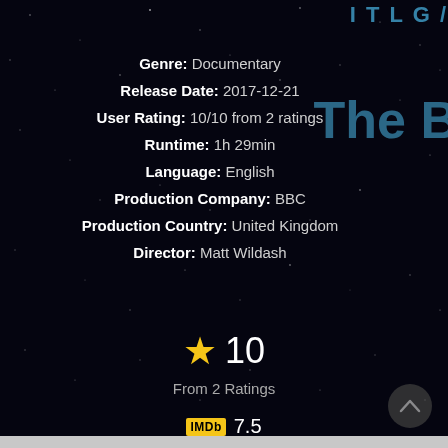Genre: Documentary
Release Date: 2017-12-21
User Rating: 10/10 from 2 ratings
Runtime: 1h 29min
Language: English
Production Company: BBC
Production Country: United Kingdom
Director: Matt Wildash
★ 10
From 2 Ratings
IMDb 7.5